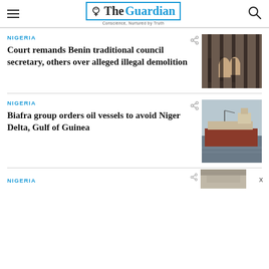The Guardian — Conscience, Nurtured by Truth
NIGERIA
Court remands Benin traditional council secretary, others over alleged illegal demolition
[Figure (photo): Hands gripping prison bars]
NIGERIA
Biafra group orders oil vessels to avoid Niger Delta, Gulf of Guinea
[Figure (photo): Large oil tanker ship on water]
NIGERIA
[Figure (photo): Partially visible thumbnail image]